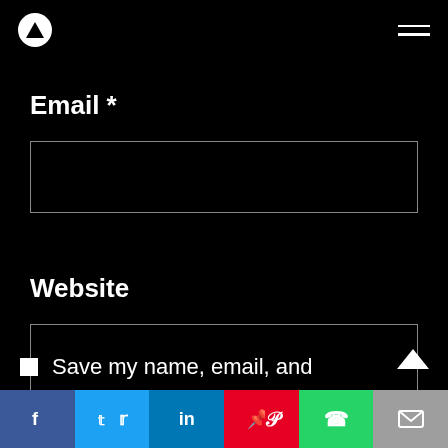Navigation header with logo and hamburger menu
Email *
Website
Save my name, email, and
Social sharing bar: Facebook, Twitter, LinkedIn, Pinterest, WhatsApp, Email